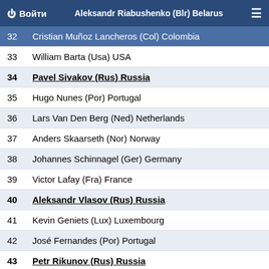Войти | Aleksandr Riabushenko (Blr) Belarus
32 Cristian Muñoz Lancheros (Col) Colombia
33 William Barta (Usa) USA
34 Pavel Sivakov (Rus) Russia
35 Hugo Nunes (Por) Portugal
36 Lars Van Den Berg (Ned) Netherlands
37 Anders Skaarseth (Nor) Norway
38 Johannes Schinnagel (Ger) Germany
39 Victor Lafay (Fra) France
40 Aleksandr Vlasov (Rus) Russia
41 Kevin Geniets (Lux) Luxembourg
42 José Fernandes (Por) Portugal
43 Petr Rikunov (Rus) Russia
44 Sean Bennett (Usa) USA
45 Matthew Teggart (Irl) Ireland
46 Anthony Rappo (Swi) Switzerland
47 Martin Schäppi (Swi) Switzerland
48 Larry Valvasori (Lux) Luxembourg
49 Piotr Brozyna (Pol) Poland
50 Giovanni Carboni (Ita) Italy
51 Maxime Roger (Fra) Auvergne Rhône- Alpes